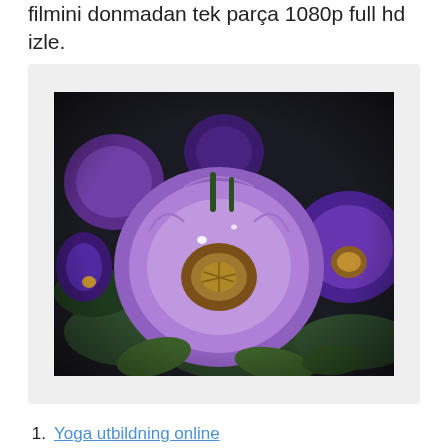filmini donmadan tek parça 1080p full hd izle.
[Figure (photo): Close-up photograph of purple and violet petunia flowers with dark green foliage background, showing water droplets on petals and golden-brown centers.]
1. Yoga utbildning online